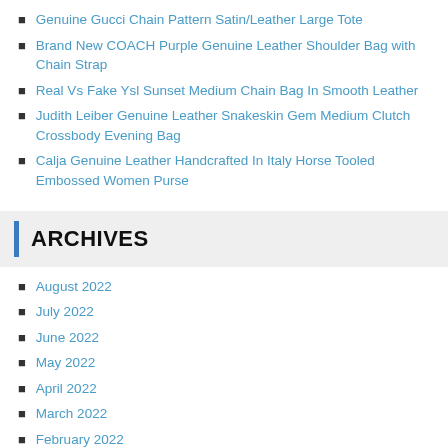Genuine Gucci Chain Pattern Satin/Leather Large Tote
Brand New COACH Purple Genuine Leather Shoulder Bag with Chain Strap
Real Vs Fake Ysl Sunset Medium Chain Bag In Smooth Leather
Judith Leiber Genuine Leather Snakeskin Gem Medium Clutch Crossbody Evening Bag
Calja Genuine Leather Handcrafted In Italy Horse Tooled Embossed Women Purse
Archives
August 2022
July 2022
June 2022
May 2022
April 2022
March 2022
February 2022
January 2022